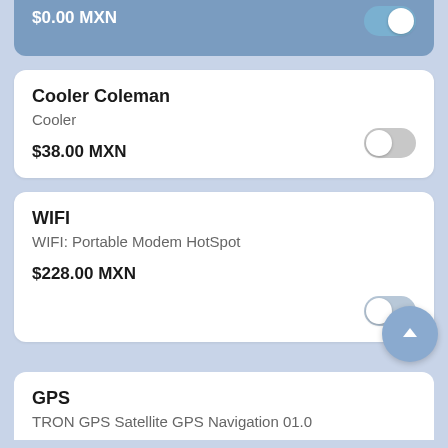$0.00 MXN
Cooler Coleman
Cooler
$38.00 MXN
WIFI
WIFI: Portable Modem HotSpot
$228.00 MXN
GPS
TRON GPS Satellite GPS Navigation 01.0